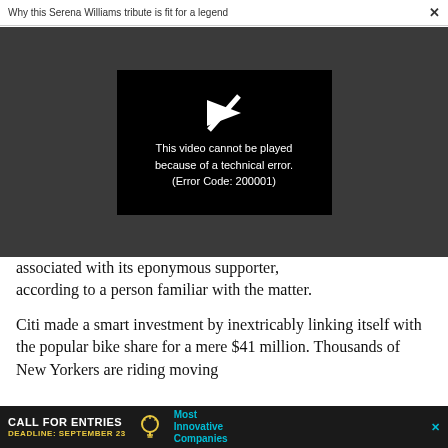Why this Serena Williams tribute is fit for a legend  ×
[Figure (screenshot): Video player showing error message: 'This video cannot be played because of a technical error. (Error Code: 200001)' on black background, set within a dark gray overlay area.]
associated with its eponymous supporter, according to a person familiar with the matter.
Citi made a smart investment by inextricably linking itself with the popular bike share for a mere $41 million. Thousands of New Yorkers are riding moving
[Figure (screenshot): Advertisement banner: 'CALL FOR ENTRIES DEADLINE: SEPTEMBER 23' with lightbulb icon and 'Most Innovative Companies' text in dark background.]